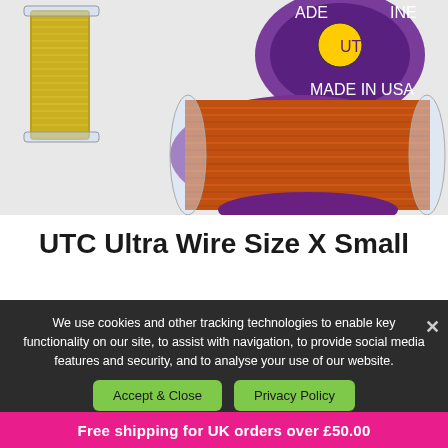[Figure (photo): Product photo showing spools of UTC Ultra Wire thread/wire. Two visible spools: one with gold/yellow wire on a clear spool in the upper left, and one larger spool with copper/orange wire on a purple spool in the center-right. The UTC brand label is visible on the gold spool.]
UTC Ultra Wire Size X Small
We use cookies and other tracking technologies to enable key functionality on our site, to assist with navigation, to provide social media features and security, and to analyse your use of our website.
Accept & Close   Privacy Policy
Free shipping for UK orders over £50.00